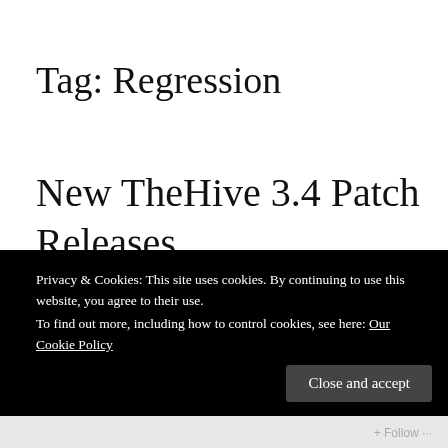Tag: Regression
New TheHive 3.4 Patch Releases
Last month (that should be… April… we are kinda losing track of time during the confinement), we made silently 2
Privacy & Cookies: This site uses cookies. By continuing to use this website, you agree to their use.
To find out more, including how to control cookies, see here: Our Cookie Policy
Close and accept